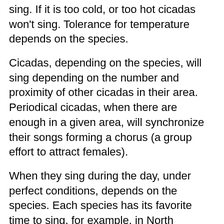sing. If it is too cold, or too hot cicadas won't sing. Tolerance for temperature depends on the species.
Cicadas, depending on the species, will sing depending on the number and proximity of other cicadas in their area. Periodical cicadas, when there are enough in a given area, will synchronize their songs forming a chorus (a group effort to attract females).
When they sing during the day, under perfect conditions, depends on the species. Each species has its favorite time to sing, for example, in North America:
Neotibicen tibicen, also known as Morning Cicada, typically sings before...